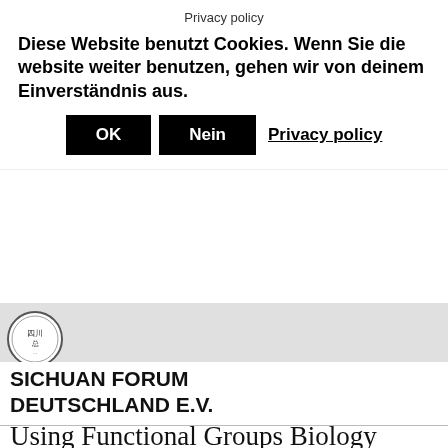Privacy policy
Diese Website benutzt Cookies. Wenn Sie die website weiter benutzen, gehen wir von deinem Einverständnis aus.
OK  Nein  Privacy policy
[Figure (logo): Circular seal/logo with Chinese characters 四川 and decorative border]
SICHUAN FORUM DEUTSCHLAND E.V.
Using Functional Groups Biology
MIN DENG  10月 12, 2019  UNCATEGORIZED  0 COMMENTS
The prefix is utilized in some circumstances and the suffix is utilized in different circumstances so science homework